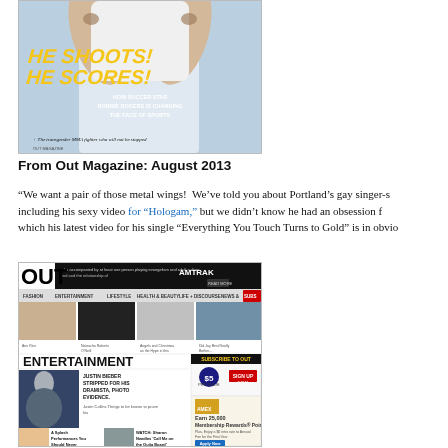[Figure (photo): Magazine cover of Out magazine August 2013 featuring a soccer player. Bold yellow italic text reads 'HE SHOOTS! HE SCORES!' with subheading 'HOW SOCCER STAR ROBBIE ROGERS IS CHANGING THE FACE OF SPORTS'. Also mentions 'The transgender MMA fighter who will not be stopped'.]
From Out Magazine: August 2013
“We want a pair of those metal wings!  We’ve told you about Portland’s gay singer-s including his sexy video for “Hologam,” but we didn’t know he had an obsession f which his latest video for his single “Everything You Touch Turns to Gold” is in obvio
[Figure (screenshot): Screenshot of the Out Magazine website (out.com) showing the homepage with the OUT logo, navigation bar, thumbnail images, an Entertainment section featuring Justin Bieber content, and a Subscribe to Out advertisement with American Express offer.]